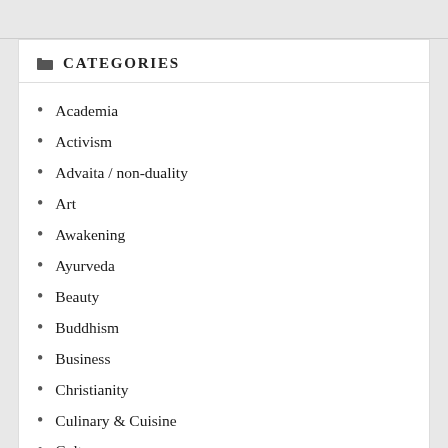CATEGORIES
Academia
Activism
Advaita / non-duality
Art
Awakening
Ayurveda
Beauty
Buddhism
Business
Christianity
Culinary & Cuisine
Culture
Dance
Dao/Tao
Design
Digital
Druid